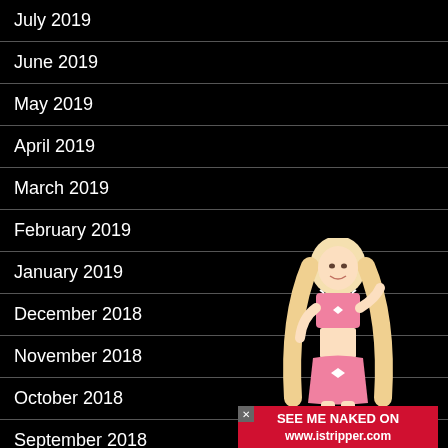July 2019
June 2019
May 2019
April 2019
March 2019
February 2019
January 2019
December 2018
November 2018
October 2018
September 2018
July 2018
April 2018
[Figure (photo): Blonde woman in pink lingerie with advertisement overlay reading SEE ME NAKED ON www.istripper.com]